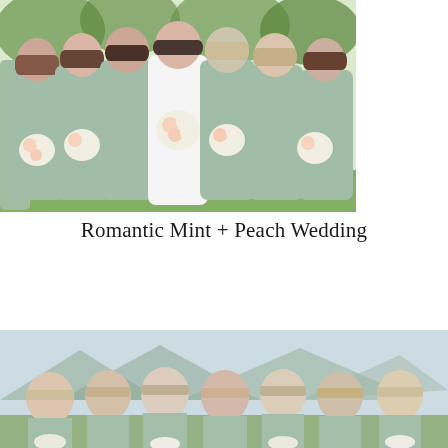[Figure (photo): A bride in a white strapless gown surrounded by bridesmaids in sage/mint green one-shoulder dresses, all holding peach and white floral bouquets, standing outdoors with trees and greenery in the background.]
Romantic Mint + Peach Wedding
[Figure (photo): A group of bridesmaids in sage/mint dresses with a mountainous green landscape in the background, smiling and posing together, holding white bouquets.]